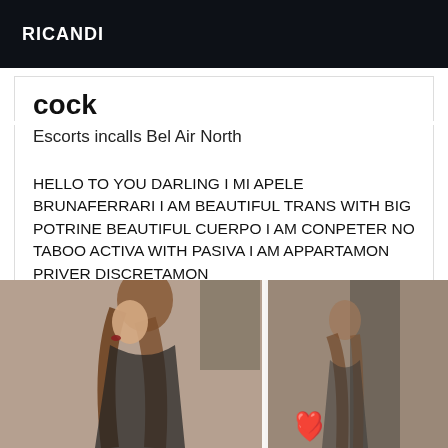RICANDI
cock
Escorts incalls Bel Air North
HELLO TO YOU DARLING I MI APELE BRUNAFERRARI I AM BEAUTIFUL TRANS WITH BIG POTRINE BEAUTIFUL CUERPO I AM CONPETER NO TABOO ACTIVA WITH PASIVA I AM APPARTAMON PRIVER DISCRETAMON
[Figure (photo): Photo of a person with long brown hair, viewed from the side, in front of a mirror, in an interior room setting. A red heart emoji is visible in the image.]